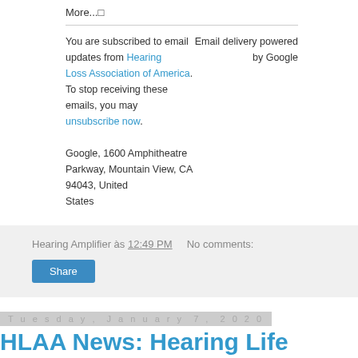More...
You are subscribed to email updates from Hearing Loss Association of America. To stop receiving these emails, you may unsubscribe now.
Email delivery powered by Google
Google, 1600 Amphitheatre Parkway, Mountain View, CA 94043, United States
Hearing Amplifier às 12:49 PM   No comments:
Share
Tuesday, January 7, 2020
HLAA News: Hearing Life Magazine, Jan/Feb 2020 issue
HLAA News: Hearing Life Magazine, Jan/Feb 2020 issue